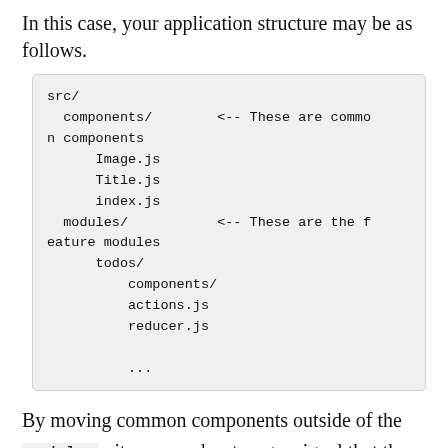In this case, your application structure may be as follows.
src/
  components/        <-- These are common components
    Image.js
    Title.js
    index.js
  modules/           <-- These are the feature modules
    todos/
      components/
      actions.js
      reducer.js

      ...
By moving common components outside of the modules , it may send a stronger signal that these components are not coupled to support of the